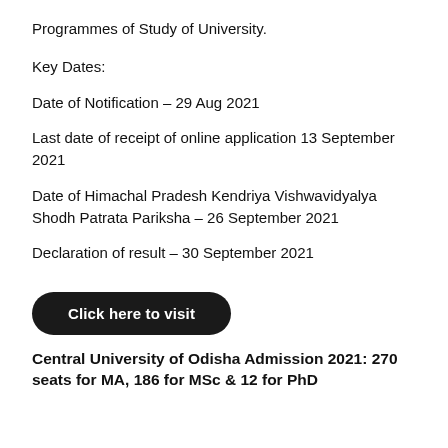Programmes of Study of University.
Key Dates:
Date of Notification – 29 Aug 2021
Last date of receipt of online application 13 September 2021
Date of Himachal Pradesh Kendriya Vishwavidyalya Shodh Patrata Pariksha – 26 September 2021
Declaration of result – 30 September 2021
Click here to visit
Central University of Odisha Admission 2021: 270 seats for MA, 186 for MSc & 12 for PhD